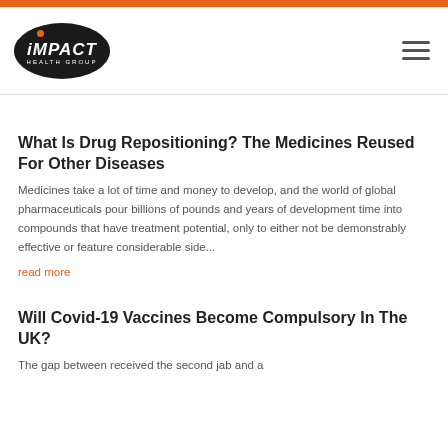[Figure (logo): Impact Health Group logo — black oval with white italic IMPACT text above HEALTH GROUP, orange dot above the I]
What Is Drug Repositioning? The Medicines Reused For Other Diseases
Medicines take a lot of time and money to develop, and the world of global pharmaceuticals pour billions of pounds and years of development time into compounds that have treatment potential, only to either not be demonstrably effective or feature considerable side...
read more
Will Covid-19 Vaccines Become Compulsory In The UK?
The gap between received the second jab and a